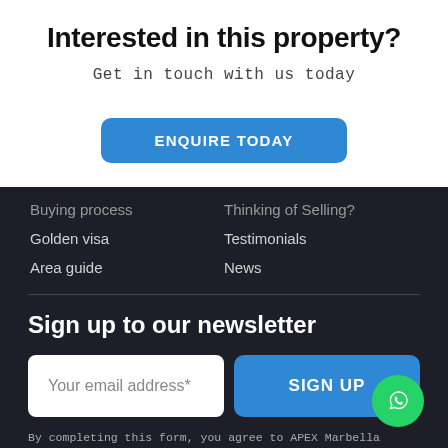Interested in this property?
Get in touch with us today
ENQUIRE TODAY
Buying process
Golden visa
Area guide
Thinking of Selling?
Testimonials
News
Sign up to our newsletter
Your email address*
SIGN UP
By completing this form, you agree to APEX Marbella Property Terms & Conditions and Privacy Policy. Data may also be used to send relevant property news and marketing tips.